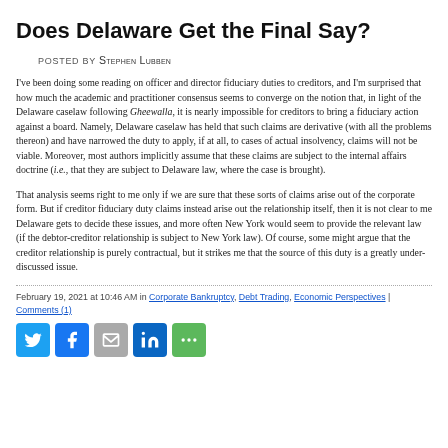Does Delaware Get the Final Say?
POSTED BY Stephen Lubben
I've been doing some reading on officer and director fiduciary duties to creditors, and I'm surprised that how much the academic and practitioner consensus seems to converge on the notion that, in light of the Delaware caselaw following Gheewalla, it is nearly impossible for creditors to bring a fiduciary action against a board. Namely, Delaware caselaw has held that such claims are derivative (with all the problems thereon) and have narrowed the duty to apply, if at all, to cases of actual insolvency, claims will not be viable. Moreover, most authors implicitly assume that these claims are subject to the internal affairs doctrine (i.e., that they are subject to Delaware law, wherever where the case is brought).
That analysis seems right to me only if we are sure that these sorts of claims arise out of the corporate form. But if creditor fiduciary duty claims instead arise out the creditor relationship itself, then it is not clear to me Delaware gets to decide these issues, and more often New York would seem to provide the relevant law (if the debtor-creditor relationship is subject to New York law). Of course, some might argue that the debtor-creditor relationship is purely contractual, but it strikes me that the source of this duty is a greatly under-discussed issue.
February 19, 2021 at 10:46 AM in Corporate Bankruptcy, Debt Trading, Economic Perspectives | Comments (1)